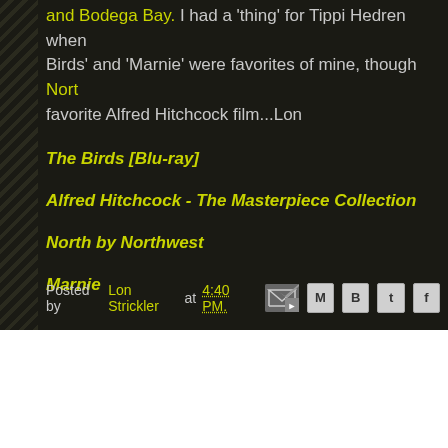and Bodega Bay. I had a 'thing' for Tippi Hedren when Birds' and 'Marnie' were favorites of mine, though Nort favorite Alfred Hitchcock film...Lon
The Birds [Blu-ray]
Alfred Hitchcock - The Masterpiece Collection
North by Northwest
Marnie
Posted by Lon Strickler at 4:40 PM.